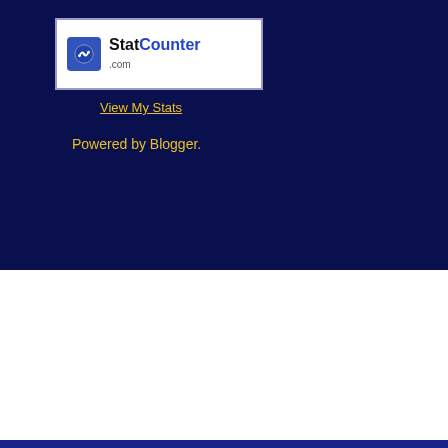[Figure (logo): StatCounter.com logo box with icon]
View My Stats
Powered by Blogger.
than see what the NCAA comes up with for
posted by packer487 at 12:44 pm
labels: game recap, michigan hockey, week
3 comments:
brandon said...
being that I didn't start following M
4:53 PM
anonymous said...
Where has Kevin Lynch been this
10:55 AM
packer487 said...
He played against Niagara, but I th
1:32 PM
Post a Comment
Newer Post
Subscribe to: Post Comments (Atom)